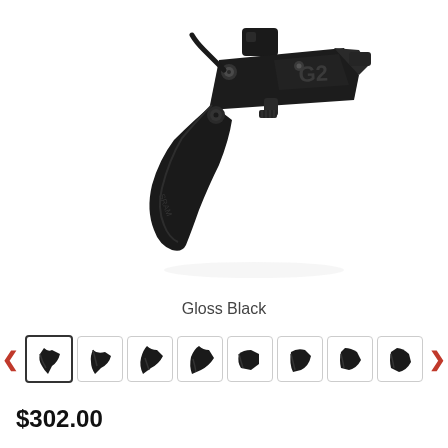[Figure (photo): SRAM G2 hydraulic disc brake lever in gloss black finish, angled view showing the lever arm, master cylinder body, and clamp.]
Gloss Black
[Figure (photo): Row of 8 thumbnail images of the SRAM G2 brake lever from different angles, with left/right navigation arrows in red.]
$302.00